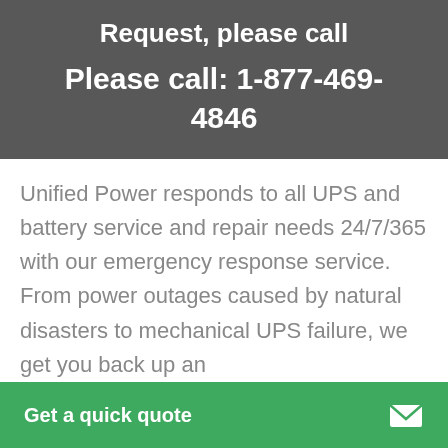Request, please call
Please call: 1-877-469-4846
Unified Power responds to all UPS and battery service and repair needs 24/7/365 with our emergency response service. From power outages caused by natural disasters to mechanical UPS failure, we get you back up an
Get a quick quote